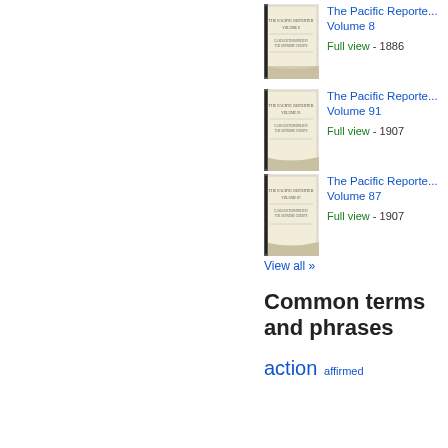[Figure (illustration): Thumbnail of The Pacific Reporter Volume 8 book cover]
The Pacific Reporter, Volume 8
Full view - 1886
[Figure (illustration): Thumbnail of The Pacific Reporter Volume 91 book cover]
The Pacific Reporter, Volume 91
Full view - 1907
[Figure (illustration): Thumbnail of The Pacific Reporter Volume 87 book cover]
The Pacific Reporter, Volume 87
Full view - 1907
View all »
Common terms and phrases
action  affirmed